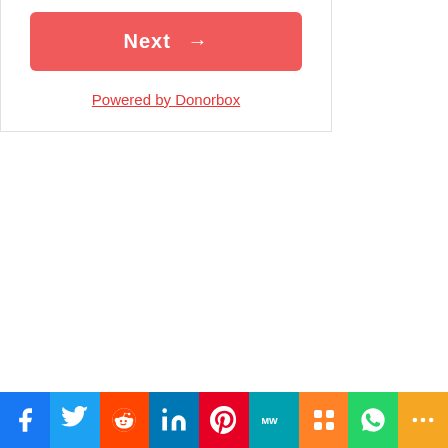[Figure (screenshot): A red 'Next →' button inside a white card widget with a rounded rectangle border]
Powered by Donorbox
[Figure (infographic): Social media sharing bar with icons: Facebook, Twitter, Reddit, LinkedIn, Pinterest, MW, Mix, WhatsApp, More]